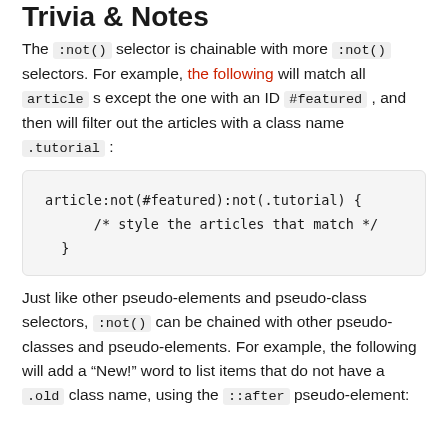Trivia & Notes
The :not() selector is chainable with more :not() selectors. For example, the following will match all article s except the one with an ID #featured , and then will filter out the articles with a class name .tutorial :
Just like other pseudo-elements and pseudo-class selectors, :not() can be chained with other pseudo-classes and pseudo-elements. For example, the following will add a “New!” word to list items that do not have a .old class name, using the ::after pseudo-element: